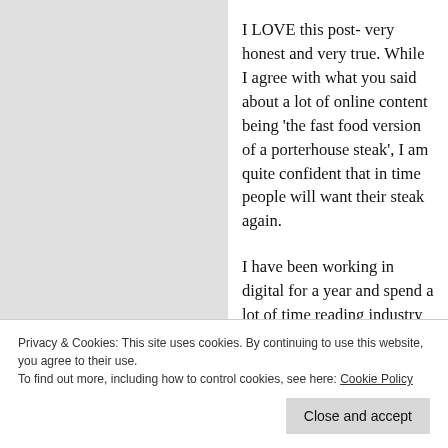I LOVE this post- very honest and very true. While I agree with what you said about a lot of online content being 'the fast food version of a porterhouse steak', I am quite confident that in time people will want their steak again.
I have been working in digital for a year and spend a lot of time reading industry news online. At the beginning I was grateful for the
Privacy & Cookies: This site uses cookies. By continuing to use this website, you agree to their use.
To find out more, including how to control cookies, see here: Cookie Policy
Close and accept